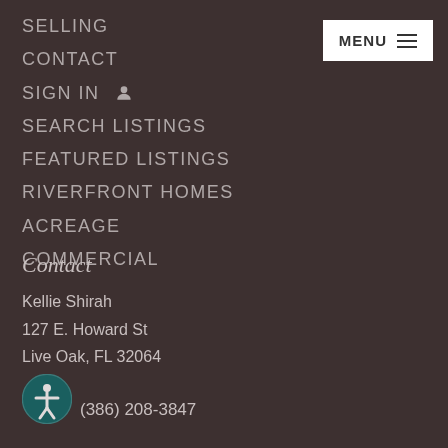SELLING
CONTACT
SIGN IN
SEARCH LISTINGS
FEATURED LISTINGS
RIVERFRONT HOMES
ACREAGE
COMMERCIAL
Contact
Kellie Shirah
127 E. Howard St
Live Oak, FL 32064
(386) 208-3847